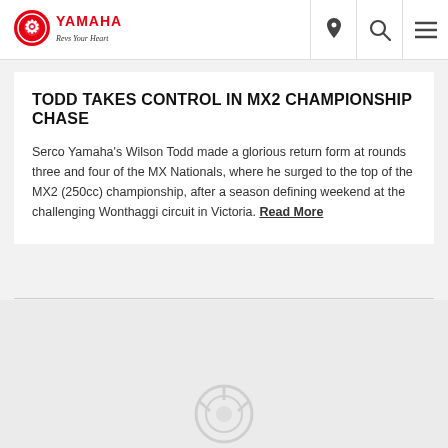YAMAHA — Revs Your Heart (logo) with location, search, and menu icons
TODD TAKES CONTROL IN MX2 CHAMPIONSHIP CHASE
Serco Yamaha's Wilson Todd made a glorious return form at rounds three and four of the MX Nationals, where he surged to the top of the MX2 (250cc) championship, after a season defining weekend at the challenging Wonthaggi circuit in Victoria. Read More